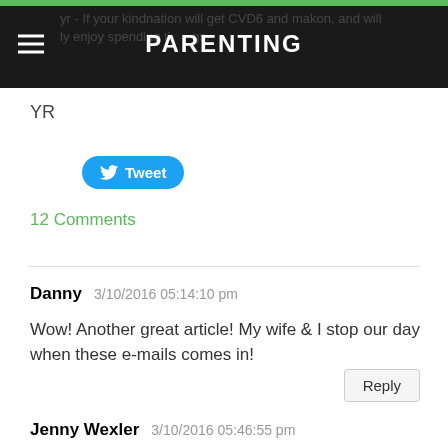PARENTING
YR
[Figure (other): Twitter Tweet button (blue rounded rectangle with bird icon)]
12 Comments
Danny  3/10/2016 05:14:10 pm

Wow! Another great article! My wife & I stop our day when these e-mails comes in!
Jenny Wexler  3/10/2016 05:46:55 pm

Great Article. Thank you for including us in this e-mail notification.